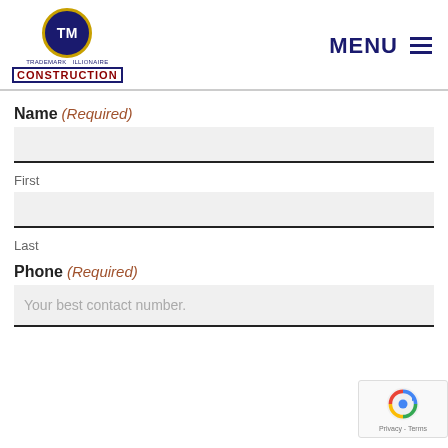[Figure (logo): TM Construction logo with circular navy/gold emblem and CONSTRUCTION text in red/navy]
MENU ≡
Name (Required)
First
Last
Phone (Required)
Your best contact number.